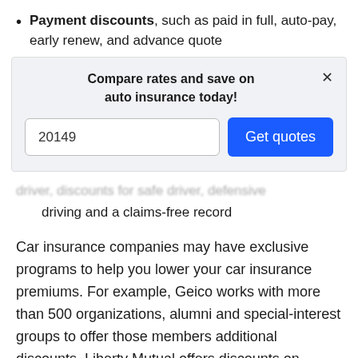Payment discounts, such as paid in full, auto-pay, early renew, and advance quote
[Figure (screenshot): Modal overlay with title 'Compare rates and save on auto insurance today!', a zip code input field showing '20149', and a blue 'Get quotes' button. An X close button is in the top right corner.]
...discounts for safe driver, defensive driving and a claims-free record
Car insurance companies may have exclusive programs to help you lower your car insurance premiums. For example, Geico works with more than 500 organizations, alumni and special-interest groups to offer those members additional discounts. Liberty Mutual offers discounts on